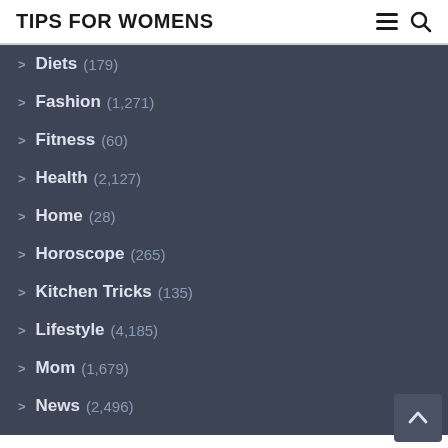TIPS FOR WOMENS
Diets (179)
Fashion (1,271)
Fitness (60)
Health (2,127)
Home (28)
Horoscope (265)
Kitchen Tricks (135)
Lifestyle (4,185)
Mom (1,679)
News (2,496)
Recipes (135)
Special (38)
Trends (5)